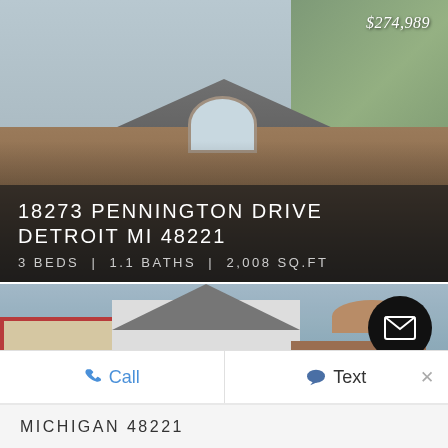[Figure (photo): Exterior photo of a two-story brick house at 18273 Pennington Drive, Detroit MI 48221]
$274,989
18273 PENNINGTON DRIVE DETROIT MI 48221
3 BEDS | 1.1 BATHS | 2,008 SQ.FT
[Figure (photo): Exterior photo showing multiple houses in Michigan 48221 neighborhood with email and phone contact buttons]
Call
Text
MICHIGAN 48221